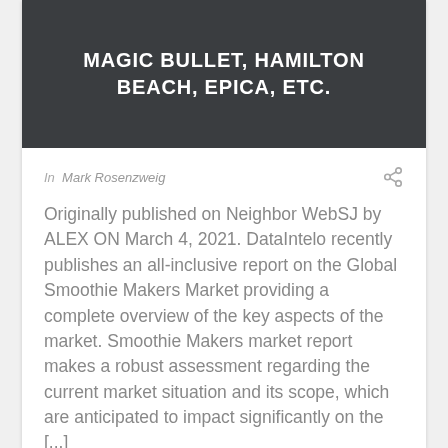MAGIC BULLET, HAMILTON BEACH, EPICA, ETC.
In  Mark Rosenzweig
Originally published on Neighbor WebSJ by ALEX ON March 4, 2021. DataIntelo recently publishes an all-inclusive report on the Global Smoothie Makers Market providing a complete overview of the key aspects of the market. Smoothie Makers market report makes a robust assessment regarding the current market situation and its scope, which are anticipated to impact significantly on the [...]